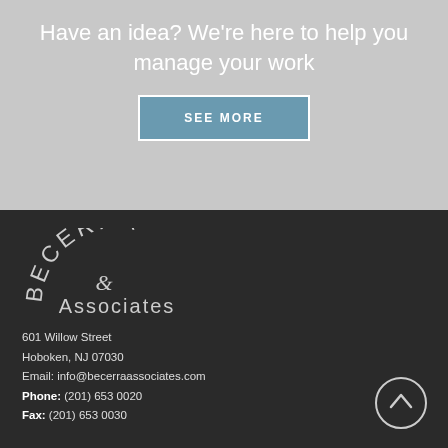Have an idea? We're here to help you manage your work
SEE MORE
[Figure (logo): Becerra & Associates logo in arched text on dark background]
601 Willow Street
Hoboken, NJ 07030
Email: info@becerraassociates.com
Phone: (201) 653 0020
Fax: (201) 653 0030